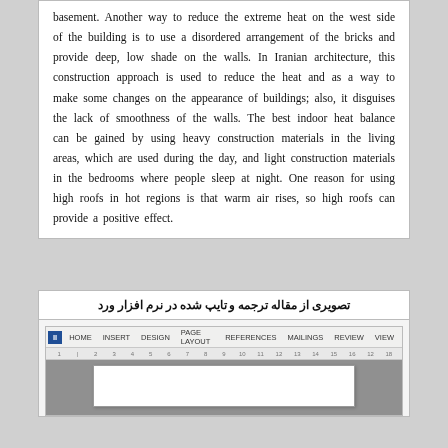basement. Another way to reduce the extreme heat on the west side of the building is to use a disordered arrangement of the bricks and provide deep, low shade on the walls. In Iranian architecture, this construction approach is used to reduce the heat and as a way to make some changes on the appearance of buildings; also, it disguises the lack of smoothness of the walls. The best indoor heat balance can be gained by using heavy construction materials in the living areas, which are used during the day, and light construction materials in the bedrooms where people sleep at night. One reason for using high roofs in hot regions is that warm air rises, so high roofs can provide a positive effect.
تصویری از مقاله ترجمه و تایپ شده در نرم افزار ورد
[Figure (screenshot): Screenshot of Microsoft Word interface showing the ribbon menu with tabs: FILE, HOME, INSERT, DESIGN, PAGE LAYOUT, REFERENCES, MAILINGS, REVIEW, VIEW, with a ruler and a document page visible below.]